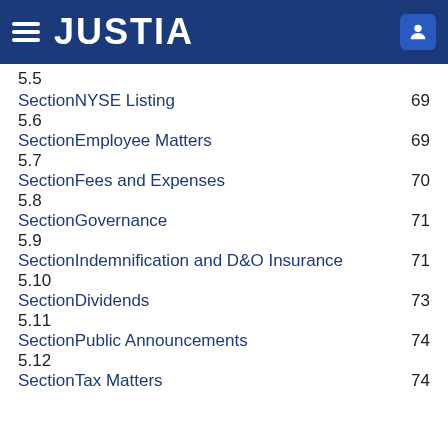JUSTIA
5.5
SectionNYSE Listing    69
5.6
SectionEmployee Matters    69
5.7
SectionFees and Expenses    70
5.8
SectionGovernance    71
5.9
SectionIndemnification and D&O Insurance    71
5.10
SectionDividends    73
5.11
SectionPublic Announcements    74
5.12
SectionTax Matters    74